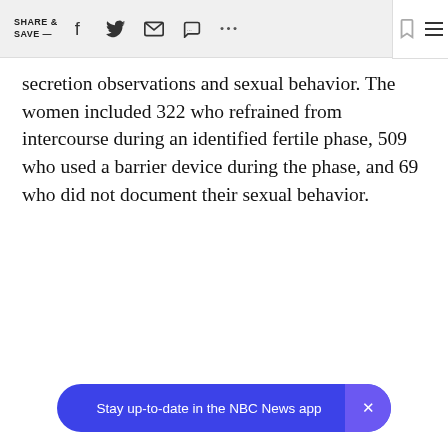SHARE & SAVE —
secretion observations and sexual behavior. The women included 322 who refrained from intercourse during an identified fertile phase, 509 who used a barrier device during the phase, and 69 who did not document their sexual behavior.
Stay up-to-date in the NBC News app